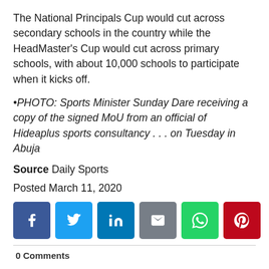The National Principals Cup would cut across secondary schools in the country while the HeadMaster's Cup would cut across primary schools, with about 10,000 schools to participate when it kicks off.
•PHOTO: Sports Minister Sunday Dare receiving a copy of the signed MoU from an official of Hideaplus sports consultancy . . . on Tuesday in Abuja
Source Daily Sports
Posted March 11, 2020
[Figure (infographic): Social media share buttons: Facebook, Twitter, LinkedIn, Email, WhatsApp, Pinterest]
0 Comments